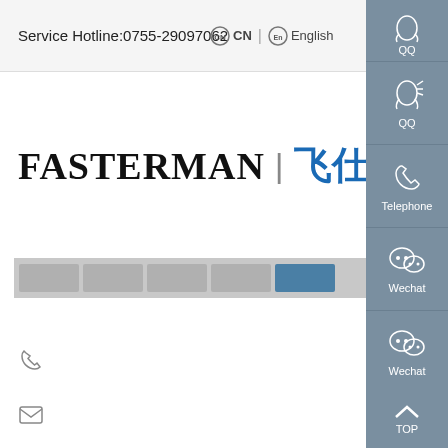Service Hotline:0755-29097062  CN  |  English
[Figure (logo): FASTERMAN | 飞仕达 company logo with Chinese characters in blue]
[Figure (screenshot): Navigation bar with multiple gray menu items]
[Figure (infographic): Right sidebar with QQ, QQ, Telephone, Wechat, Wechat buttons in gray, and TOP scroll button at bottom]
Phone icon (contact phone)
Email icon (contact email)
Location icon (contact address)